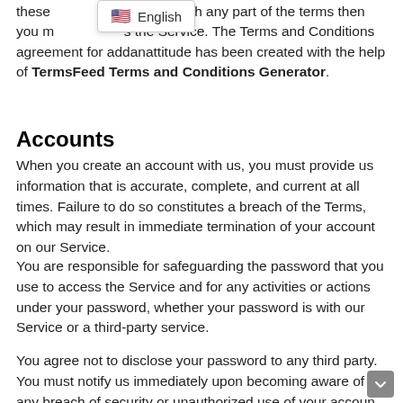these disagree with any part of the terms then you must stop using the Service. The Terms and Conditions agreement for addanattitude has been created with the help of TermsFeed Terms and Conditions Generator.
Accounts
When you create an account with us, you must provide us information that is accurate, complete, and current at all times. Failure to do so constitutes a breach of the Terms, which may result in immediate termination of your account on our Service.
You are responsible for safeguarding the password that you use to access the Service and for any activities or actions under your password, whether your password is with our Service or a third-party service.
You agree not to disclose your password to any third party. You must notify us immediately upon becoming aware of any breach of security or unauthorized use of your account.